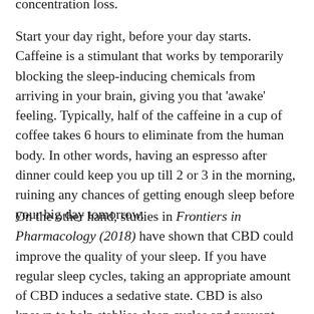concentration loss.
Start your day right, before your day starts. Caffeine is a stimulant that works by temporarily blocking the sleep-inducing chemicals from arriving in your brain, giving you that 'awake' feeling. Typically, half of the caffeine in a cup of coffee takes 6 hours to eliminate from the human body. In other words, having an espresso after dinner could keep you up till 2 or 3 in the morning, ruining any chances of getting enough sleep before your big day tomorrow.
On the other hand, studies in Frontiers in Pharmacology (2018) have shown that CBD could improve the quality of your sleep. If you have regular sleep cycles, taking an appropriate amount of CBD induces a sedative state. CBD is also known to help stablise sleep cycles and prevent frequent awakenings, so adding CBD to your coffee will lower your chances of getting